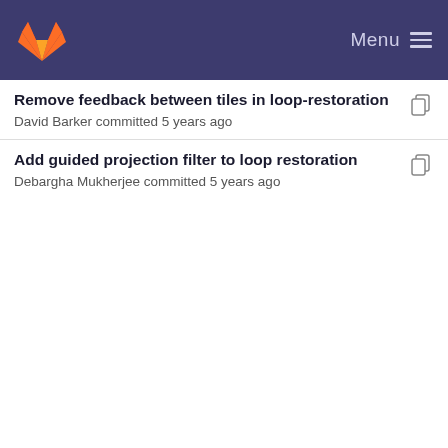GitLab — Menu
Remove feedback between tiles in loop-restoration
David Barker committed 5 years ago
Add guided projection filter to loop restoration
Debargha Mukherjee committed 5 years ago
More cleanups / fixes on loop-restoration buffers
Debargha Mukherjee committed 5 years ago
Add guided projection filter to loop restoration
Debargha Mukherjee committed 5 years ago
More cleanups / fixes on loop-restoration buffers
Debargha Mukherjee committed 5 years ago